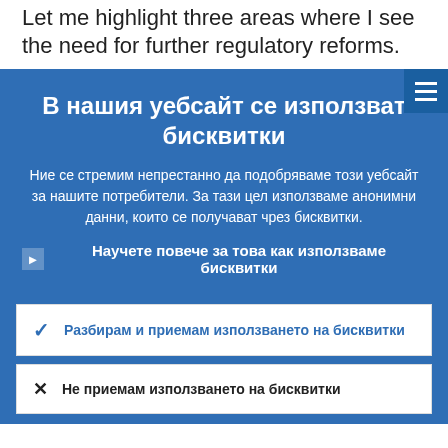Let me highlight three areas where I see the need for further regulatory reforms.
В нашия уебсайт се използват бисквитки
Ние се стремим непрестанно да подобряваме този уебсайт за нашите потребители. За тази цел използваме анонимни данни, които се получават чрез бисквитки.
Научете повече за това как използваме бисквитки
Разбирам и приемам използването на бисквитки
Не приемам използването на бисквитки